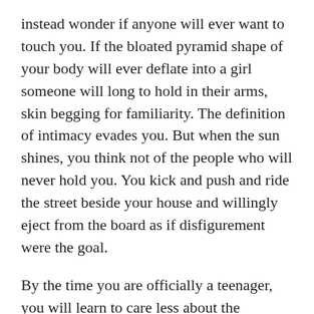instead wonder if anyone will ever want to touch you. If the bloated pyramid shape of your body will ever deflate into a girl someone will long to hold in their arms, skin begging for familiarity. The definition of intimacy evades you. But when the sun shines, you think not of the people who will never hold you. You kick and push and ride the street beside your house and willingly eject from the board as if disfigurement were the goal.
By the time you are officially a teenager, you will learn to care less about the dullness of your knees. They will look more angular like the other girls' when crusted in a cap of diamond-cut scabs, peeking out from beneath your desk in the 8th grade homeroom line up. You will get to know well the burst-grape gray of tortured elbows and find the wreckage charming.